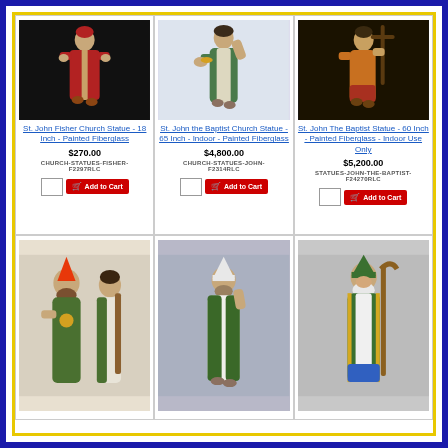[Figure (photo): St. John Fisher Church Statue - red robed figure on dark background]
St. John Fisher Church Statue - 18 Inch - Painted Fiberglass
$270.00
CHURCH-STATUES-FISHER-F2297RLC
[Figure (photo): St. John the Baptist Church Statue - figure with green robe and raised hand]
St. John the Baptist Church Statue - 65 Inch - Indoor - Painted Fiberglass
$4,800.00
CHURCH-STATUES-JOHN-F2314RLC
[Figure (photo): St. John The Baptist Statue - figure with cross on dark background]
St. John The Baptist Statue - 60 Inch - Painted Fiberglass - Indoor Use Only
$5,200.00
STATUES-JOHN-THE-BAPTIST-F24270RLC
[Figure (photo): Two saint statues in green and white robes]
[Figure (photo): Saint statue in white and green robe with bishop hat]
[Figure (photo): Saint statue in green robe holding staff]